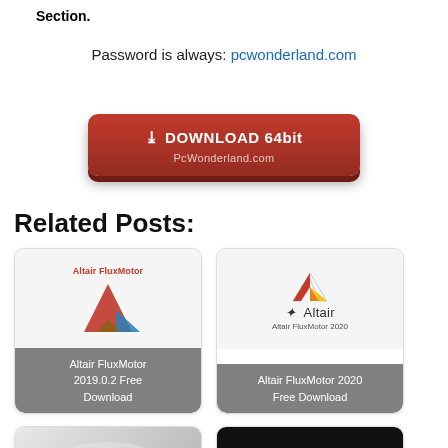Section.
Password is always: pcwonderland.com
[Figure (other): Red download button with download icon, text 'DOWNLOAD 64bit' and 'PcWonderland.com']
Related Posts:
[Figure (other): Card: Altair FluxMotor 2019.0.2 Free Download]
[Figure (other): Card: Altair FluxMotor 2020 Free Download]
[Figure (other): Card: FluidRay (partial)]
[Figure (other): Card: Marvelous Designer 9 (partial)]